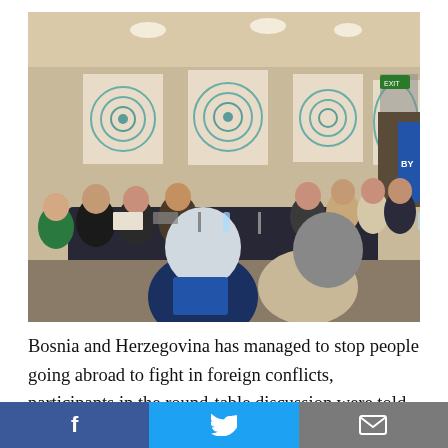[Figure (photo): A round-table discussion session in a conference room. Participants are seated around a large rectangular table covered with a dark tablecloth. The walls feature circular decorative artworks in teal/blue tones. Several attendees are visible taking notes or reviewing documents.]
Bosnia and Herzegovina has managed to stop people going abroad to fight in foreign conflicts, participants in the round-table discussion were told during the presentation of an